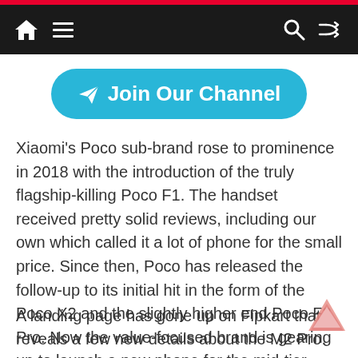Navigation bar with home, menu, search, and shuffle icons
[Figure (other): Join Our Channel button with Telegram send icon on cyan/blue rounded background]
Xiaomi's Poco sub-brand rose to prominence in 2018 with the introduction of the truly flagship-killing Poco F1. The handset received pretty solid reviews, including our own which called it a lot of phone for the small price. Since then, Poco has released the follow-up to its initial hit in the form of the Poco X2 and the slightly higher end Poco F2 Pro. Now the value-focused brand is gearing up to launch a new phone for the mid-tier market: the Poco M2 Pro.
A landing page has gone up on Fipkart that reveals a few new details about the M2 Pro.